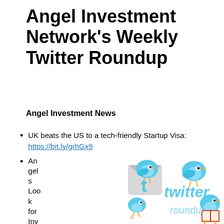Angel Investment Network's Weekly Twitter Roundup
Angel Investment News
UK beats the US to a tech-friendly Startup Visa: https://bit.ly/grhGx9
Angels Look for Inv...
[Figure (illustration): Twitter roundup branding image with blue Twitter birds and stylized 'twitter roundup' text logo]